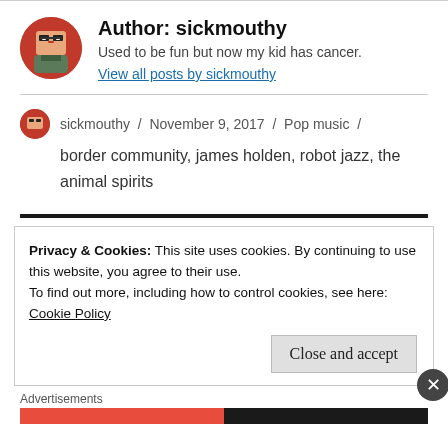[Figure (illustration): Author avatar: pixel-art style avatar of a person with glasses on an orange/red circular background]
Author: sickmouthy
Used to be fun but now my kid has cancer.
View all posts by sickmouthy
sickmouthy / November 9, 2017 / Pop music / border community, james holden, robot jazz, the animal spirits
Privacy & Cookies: This site uses cookies. By continuing to use this website, you agree to their use.
To find out more, including how to control cookies, see here:
Cookie Policy
Close and accept
Advertisements